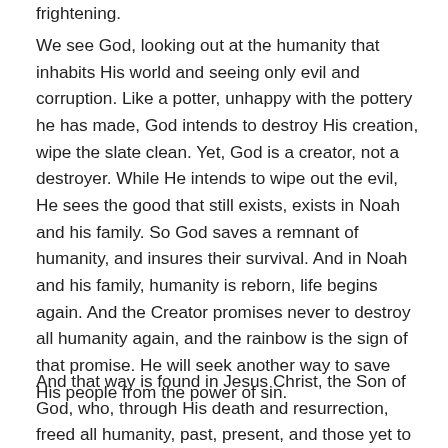frightening.
We see God, looking out at the humanity that inhabits His world and seeing only evil and corruption. Like a potter, unhappy with the pottery he has made, God intends to destroy His creation, wipe the slate clean. Yet, God is a creator, not a destroyer. While He intends to wipe out the evil, He sees the good that still exists, exists in Noah and his family. So God saves a remnant of humanity, and insures their survival. And in Noah and his family, humanity is reborn, life begins again. And the Creator promises never to destroy all humanity again, and the rainbow is the sign of that promise. He will seek another way to save His people from the power of sin.
And that way is found in Jesus Christ, the Son of God, who, through His death and resurrection, freed all humanity, past, present, and those yet to come from the